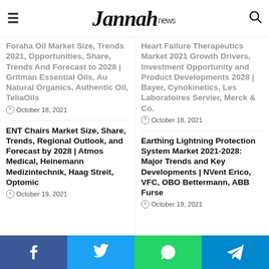Jannah news
Foraha Oil Market Size, Trends 2021, Opportunities, Share, Trends And Forecast to 2028 | Gritman Essential Oils, Au Natural Organics, Authentic Oil, TeliaOils
October 18, 2021
Heart Failure Therapeutics Market 2021 Growth Drivers, Investment Opportunity and Product Developments 2028 | Bayer, Cynokinetics, Les Laboratoires Servier, Merck & Co.
October 18, 2021
ENT Chairs Market Size, Share, Trends, Regional Outlook, and Forecast by 2028 | Atmos Medical, Heinemann Medizintechnik, Haag Streit, Optomic
October 19, 2021
Earthing Lightning Protection System Market 2021-2028: Major Trends and Key Developments | NVent Erico, VFC, OBO Bettermann, ABB Furse
October 19, 2021